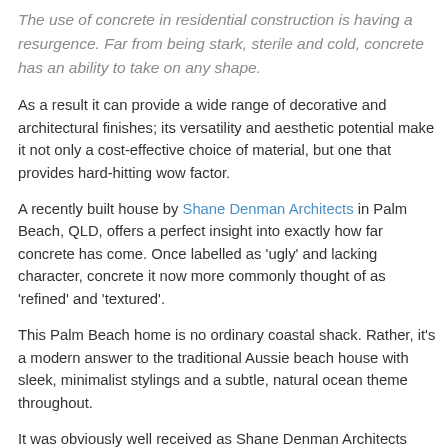The use of concrete in residential construction is having a resurgence. Far from being stark, sterile and cold, concrete has an ability to take on any shape.
As a result it can provide a wide range of decorative and architectural finishes; its versatility and aesthetic potential make it not only a cost-effective choice of material, but one that provides hard-hitting wow factor.
A recently built house by Shane Denman Architects in Palm Beach, QLD, offers a perfect insight into exactly how far concrete has come. Once labelled as 'ugly' and lacking character, concrete it now more commonly thought of as 'refined' and 'textured'.
This Palm Beach home is no ordinary coastal shack. Rather, it's a modern answer to the traditional Aussie beach house with sleek, minimalist stylings and a subtle, natural ocean theme throughout.
It was obviously well received as Shane Denman Architects won a state award at the Queensland Architecture Award in 2016 for the